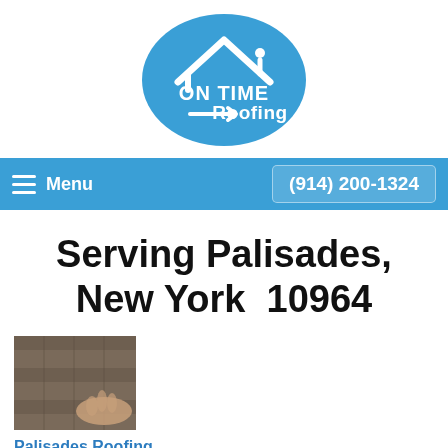[Figure (logo): On Time Roofing logo — blue oval with white house/roof outline and text ON TIME Roofing with arrow]
≡  Menu    (914) 200-1324
Serving Palisades, New York  10964
[Figure (photo): Close-up photo of roofing shingles with a hand touching them]
Palisades Roofing
For affordable, top-quality roofing in Palisades, call On Time Remodeling Corp today. On Time Remodeling Corp will provide you with the most reliable, highly qualified...